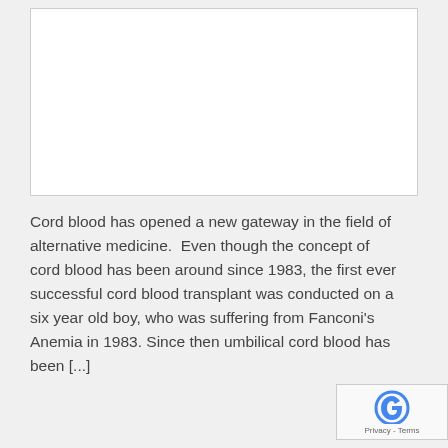[Figure (other): White rectangular image placeholder area with light border]
Cord blood has opened a new gateway in the field of alternative medicine.  Even though the concept of cord blood has been around since 1983, the first ever successful cord blood transplant was conducted on a six year old boy, who was suffering from Fanconi's Anemia in 1983. Since then umbilical cord blood has been [...]